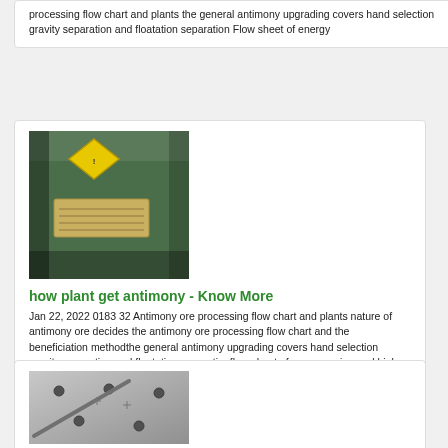processing flow chart and plants the general antimony upgrading covers hand selection gravity separation and floatation separation Flow sheet of energy
[Figure (photo): Close-up photo of industrial machinery with a yellow diamond-shaped warning label and a metal nameplate with text on a green machine surface]
how plant get antimony - Know More
Jan 22, 2022 0183 32 Antimony ore processing flow chart and plants nature of antimony ore decides the antimony ore processing flow chart and the beneficiation methodthe general antimony upgrading covers hand selection gravity separation and floatation separationflow sheet of energysaving and high
[Figure (photo): Grayscale photo of a metal plate or panel with several holes/bolts and a diagonal rod or bar across it]